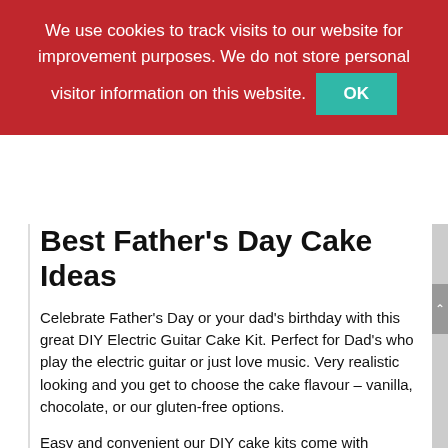We use cookies to track visits to our website for improvement purposes. We do not store personal visitor information on this website. OK
Best Father's Day Cake Ideas
Celebrate Father's Day or your dad's birthday with this great DIY Electric Guitar Cake Kit. Perfect for Dad's who play the electric guitar or just love music. Very realistic looking and you get to choose the cake flavour – vanilla, chocolate, or our gluten-free options.
Easy and convenient our DIY cake kits come with everything you need delivered directly to your door. Just add your eggs, milk and butter from your pantry and mix, bake and decorate. It's that easy. We even supply the box to bake it in.
How to Make Your Electric Guitar Birthday DIY Cake Kit